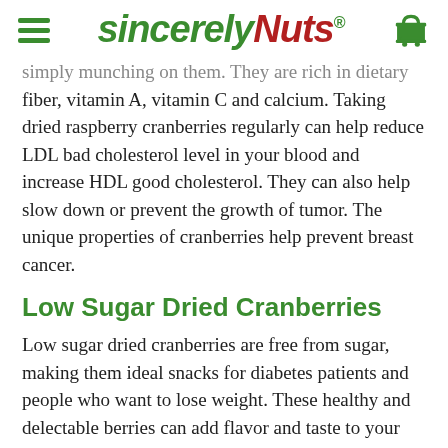SincerelyNuts
simply munching on them. They are rich in dietary fiber, vitamin A, vitamin C and calcium. Taking dried raspberry cranberries regularly can help reduce LDL bad cholesterol level in your blood and increase HDL good cholesterol. They can also help slow down or prevent the growth of tumor. The unique properties of cranberries help prevent breast cancer.
Low Sugar Dried Cranberries
Low sugar dried cranberries are free from sugar, making them ideal snacks for diabetes patients and people who want to lose weight. These healthy and delectable berries can add flavor and taste to your